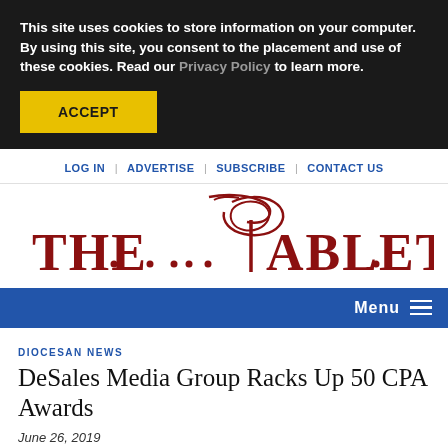This site uses cookies to store information on your computer. By using this site, you consent to the placement and use of these cookies. Read our Privacy Policy to learn more.
ACCEPT
LOG IN | ADVERTISE | SUBSCRIBE | CONTACT US
[Figure (logo): The Tablet newspaper logo in dark red serif lettering with decorative script T]
Menu
DIOCESAN NEWS
DeSales Media Group Racks Up 50 CPA Awards
June 26, 2019
By Allyson Escobar